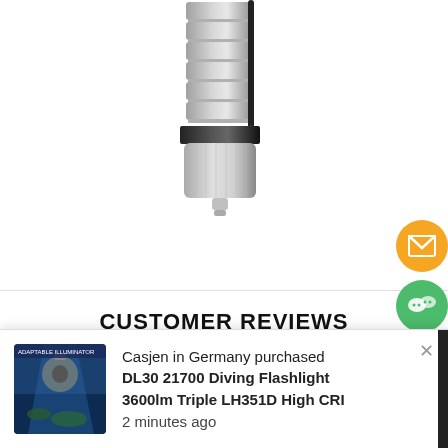[Figure (photo): White/silver flashlight with ribbed body and black clip, shown vertically with bottom/tail cap visible]
CUSTOMER REVIEWS
[Figure (photo): Popup notification showing a thumbnail of a diving flashlight product with underwater scene. Text: Casjen in Germany purchased DL30 21700 Diving Flashlight 3600lm Triple LH351D High CRI, 2 minutes ago]